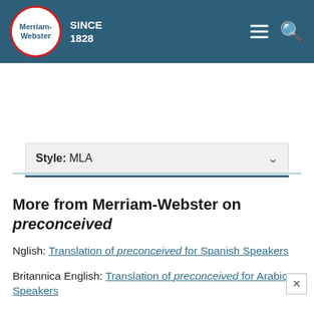Merriam-Webster SINCE 1828
Style: MLA
More from Merriam-Webster on preconceived
Nglish: Translation of preconceived for Spanish Speakers
Britannica English: Translation of preconceived for Arabic Speakers